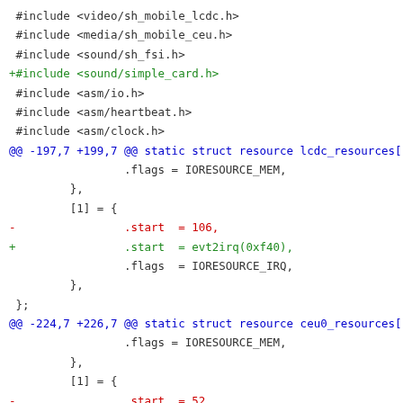Code diff showing include additions and resource struct changes for lcdc_resources and ceu0_resources arrays, with start values changed from numeric to evt2irq() calls.